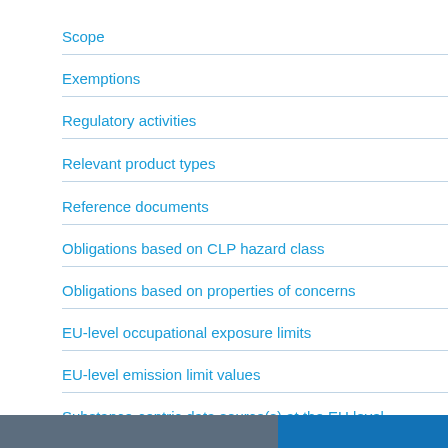Scope
Exemptions
Regulatory activities
Relevant product types
Reference documents
Obligations based on CLP hazard class
Obligations based on properties of concerns
EU-level occupational exposure limits
EU-level emission limit values
Substance-centric data source(s) at the EU level
Industry submission system in place
Format for industry submission
Owner
Update process
Amendments